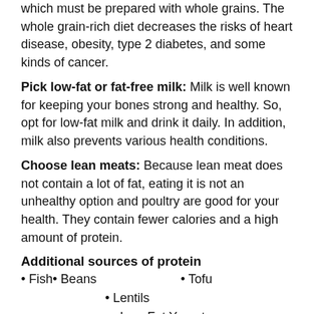which must be prepared with whole grains. The whole grain-rich diet decreases the risks of heart disease, obesity, type 2 diabetes, and some kinds of cancer.
Pick low-fat or fat-free milk: Milk is well known for keeping your bones strong and healthy. So, opt for low-fat milk and drink it daily. In addition, milk also prevents various health conditions.
Choose lean meats: Because lean meat does not contain a lot of fat, eating it is not an unhealthy option and poultry are good for your health. They contain fewer calories and a high amount of protein.
Additional sources of protein
Fish
Beans
Tofu
Lentils
Low-Fat Yogurt
Eggs
Seeds (Squash and Pumpkin Seeds)
Good nutrition is essential for good health. You should eat a healthy diet that includes nutritious foods. Stay connected to CanWinn Foundation for more healthy tips.